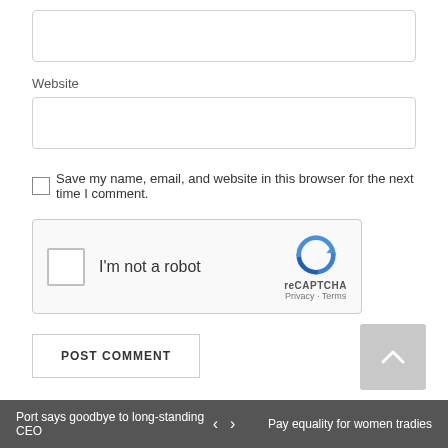[Figure (screenshot): Text input field (empty), top of page]
Website
[Figure (screenshot): Website text input field (empty)]
Save my name, email, and website in this browser for the next time I comment.
[Figure (screenshot): reCAPTCHA widget with checkbox and 'I'm not a robot' text, reCAPTCHA logo, Privacy and Terms links]
[Figure (screenshot): POST COMMENT button]
[Figure (screenshot): Back to top arrow button (upward chevron on gray background)]
Port says goodbye to long-standing CEO   <   >   Pay equality for women tradies